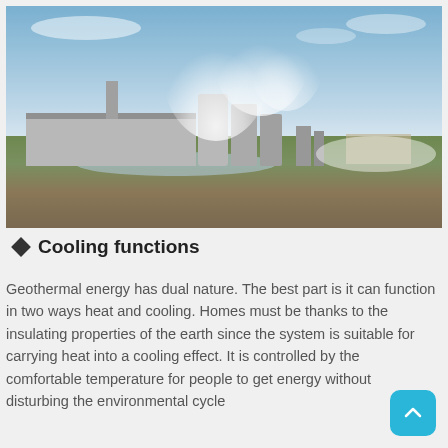[Figure (photo): Aerial/ground-level photograph of a geothermal power plant with large white steam plumes rising from industrial silos and buildings, set against a blue sky with some clouds. The foreground shows rocky/marshy ground and a reflective water area.]
Cooling functions
Geothermal energy has dual nature. The best part is it can function in two ways heat and cooling. Homes must be thanks to the insulating properties of the earth since the system is suitable for carrying heat into a cooling effect. It is controlled by the comfortable temperature for people to get energy without disturbing the environmental cycle